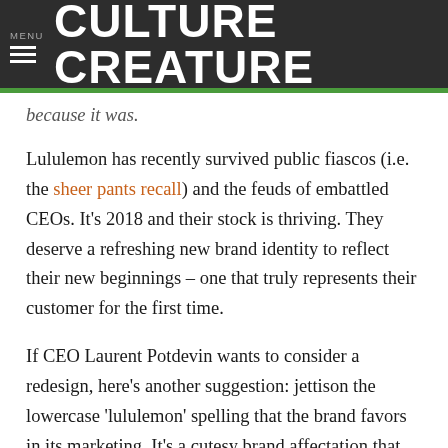MENU Culture Creature
because it was.
Lululemon has recently survived public fiascos (i.e. the sheer pants recall) and the feuds of embattled CEOs. It's 2018 and their stock is thriving. They deserve a refreshing new brand identity to reflect their new beginnings – one that truly represents their customer for the first time.
If CEO Laurent Potdevin wants to consider a redesign, here's another suggestion: jettison the lowercase 'lululemon' spelling that the brand favors in its marketing. It's a cutesy brand affectation that makes the word seem too meek to perform even a beginner's yoga pose.